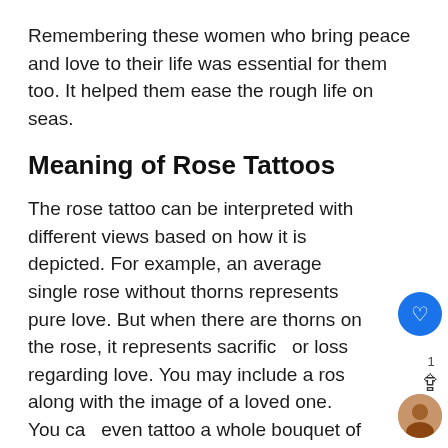Remembering these women who bring peace and love to their life was essential for them too. It helped them ease the rough life on seas.
Meaning of Rose Tattoos
The rose tattoo can be interpreted with different views based on how it is depicted. For example, an average single rose without thorns represents pure love. But when there are thorns on the rose, it represents sacrifice or loss regarding love. You may include a rose along with the image of a loved one. You can even tattoo a whole bouquet of roses. A rose plant with more than one flower is also a possibility.